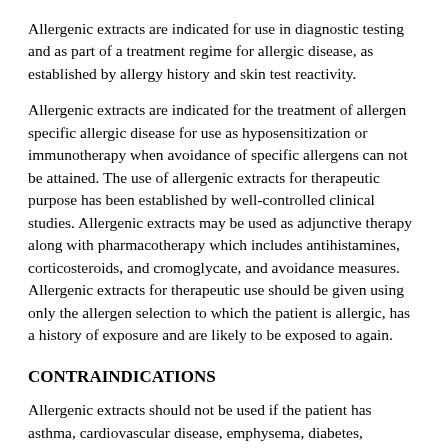Allergenic extracts are indicated for use in diagnostic testing and as part of a treatment regime for allergic disease, as established by allergy history and skin test reactivity.
Allergenic extracts are indicated for the treatment of allergen specific allergic disease for use as hyposensitization or immunotherapy when avoidance of specific allergens can not be attained. The use of allergenic extracts for therapeutic purpose has been established by well-controlled clinical studies. Allergenic extracts may be used as adjunctive therapy along with pharmacotherapy which includes antihistamines, corticosteroids, and cromoglycate, and avoidance measures. Allergenic extracts for therapeutic use should be given using only the allergen selection to which the patient is allergic, has a history of exposure and are likely to be exposed to again.
CONTRAINDICATIONS
Allergenic extracts should not be used if the patient has asthma, cardiovascular disease, emphysema, diabetes, bleeding diathesis or pregnancy, unless a specific diagnosis of type 1 allergic disease is made based on skin testing and the benefits of treatment outweigh the risks of an adverse reaction during testing or treatment. Allergenic extracts are not indicated for use in patients who are not clinically allergic or who are not skin